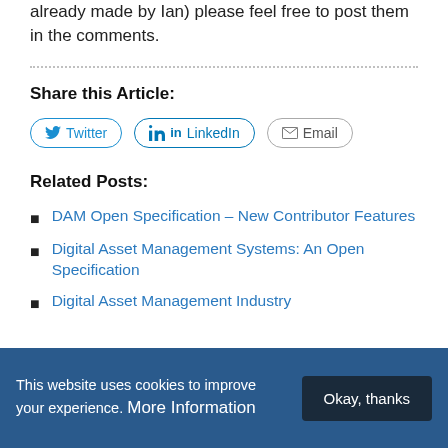already made by Ian)  please feel free to post them in the comments.
Share this Article:
[Figure (other): Share buttons: Twitter, LinkedIn, Email]
Related Posts:
DAM Open Specification – New Contributor Features
Digital Asset Management Systems: An Open Specification
Digital Asset Management Industry
This website uses cookies to improve your experience. More Information